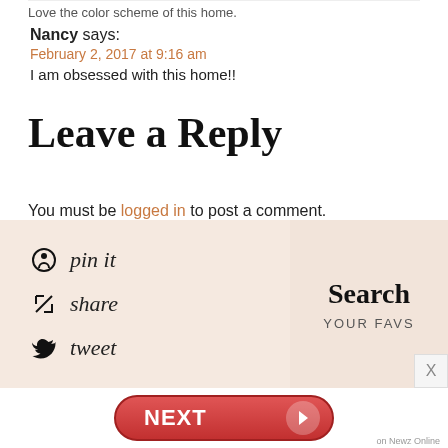Love the color scheme of this home.
Nancy says: February 2, 2017 at 9:16 am — I am obsessed with this home!!
Leave a Reply
You must be logged in to post a comment.
This site uses Akismet to reduce spam. Learn how your comment data is processed.
[Figure (infographic): Social sharing panel with Pinterest pin it, Telegram share, Twitter tweet icons and handwritten labels on a beige background, alongside a Search YOUR FAVS panel]
[Figure (infographic): Red NEXT button with arrow in a pill shape, with 'on Newz Online' label]